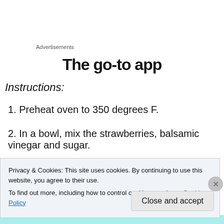Advertisements
The go-to app
Instructions:
1. Preheat oven to 350 degrees F.
2. In a bowl, mix the strawberries, balsamic vinegar and sugar.
3. Spread mixture evenly on a baking sheet and roast for
Privacy & Cookies: This site uses cookies. By continuing to use this website, you agree to their use.
To find out more, including how to control cookies, see here: Cookie Policy
Close and accept